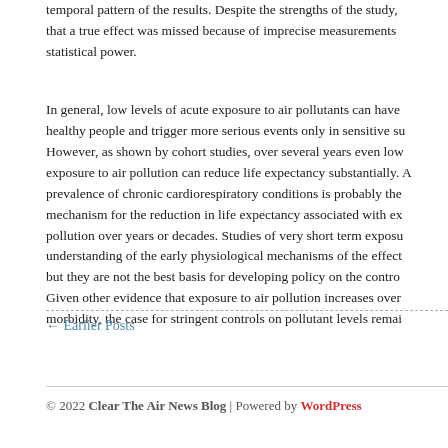temporal pattern of the results. Despite the strengths of the study, that a true effect was missed because of imprecise measurements statistical power.
In general, low levels of acute exposure to air pollutants can have healthy people and trigger more serious events only in sensitive su However, as shown by cohort studies, over several years even low exposure to air pollution can reduce life expectancy substantially. A prevalence of chronic cardiorespiratory conditions is probably the mechanism for the reduction in life expectancy associated with ex pollution over years or decades. Studies of very short term exposu understanding of the early physiological mechanisms of the effect but they are not the best basis for developing policy on the contro Given other evidence that exposure to air pollution increases over morbidity, the case for stringent controls on pollutant levels remai
← Earlier Posts
© 2022 Clear The Air News Blog | Powered by WordPress